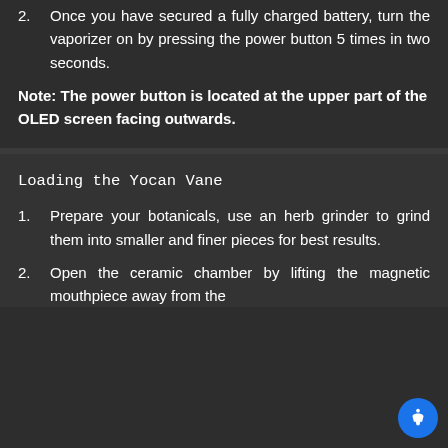2. Once you have secured a fully charged battery, turn the vaporizer on by pressing the power button 5 times in two seconds.
Note: The power button is located at the upper part of the OLED screen facing outwards.
Loading the Yocan Vane
1. Prepare your botanicals, use an herb grinder to grind them into smaller and finer pieces for best results.
2. Open the ceramic chamber by lifting the magnetic mouthpiece away from the